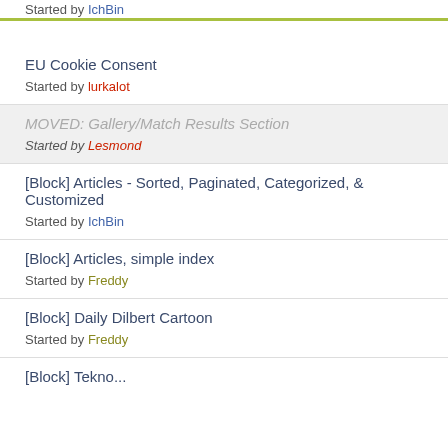Started by IchBin
EU Cookie Consent — Started by lurkalot
MOVED: Gallery/Match Results Section — Started by Lesmond
[Block] Articles - Sorted, Paginated, Categorized, & Customized — Started by IchBin
[Block] Articles, simple index — Started by Freddy
[Block] Daily Dilbert Cartoon — Started by Freddy
[Block] ...